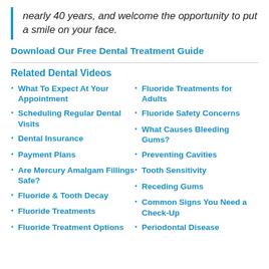nearly 40 years, and welcome the opportunity to put a smile on your face.
Download Our Free Dental Treatment Guide
Related Dental Videos
What To Expect At Your Appointment
Scheduling Regular Dental Visits
Dental Insurance
Payment Plans
Are Mercury Amalgam Fillings Safe?
Fluoride & Tooth Decay
Fluoride Treatments
Fluoride Treatment Options
Fluoride Treatments for Adults
Fluoride Safety Concerns
What Causes Bleeding Gums?
Preventing Cavities
Tooth Sensitivity
Receding Gums
Common Signs You Need a Check-Up
Periodontal Disease